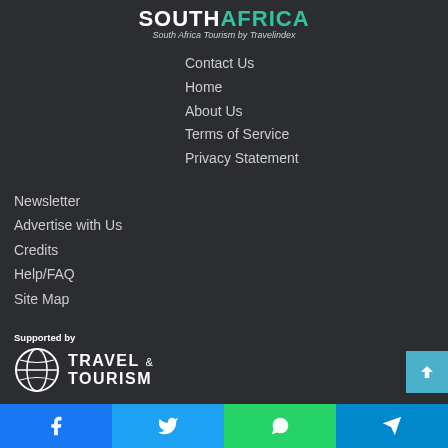[Figure (logo): SOUTHAFRICA - South Africa Tourism by Travelindex logo, with SOUTH in white bold caps, AFRICA in teal/green bold caps, subtitle in italic grey]
Contact Us
Home
About Us
Terms of Service
Privacy Statement
Newsletter
Advertise with Us
Credits
Help/FAQ
Site Map
Supported by
[Figure (logo): Travel & Tourism logo with globe icon and bold text TRAVEL & TOURISM]
[Figure (other): Social share bar with Facebook, Twitter, WhatsApp, and Telegram buttons at bottom of page]